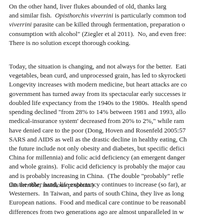On the other hand, liver flukes abounded of old, thanks largely to consumption of raw carp and similar fish. Opisthorchis viverrini is particularly common today. The O. viverrini parasite can be killed through fermentation, preparation of raw fish dishes, and consumption with alcohol" (Ziegler et al 2011). No, and even freezing does not kill it. There is no solution except thorough cooking.
Today, the situation is changing, and not always for the better. Eating less fresh vegetables, bean curd, and unprocessed grain, has led to skyrocketing rates of cancer. Longevity increases with modern medicine, but heart attacks are common now. The government has turned away from its spectacular early successes in public health—which doubled life expectancy from the 1940s to the 1980s. Health spending as percent of total spending declined "from 28% to 14% between 1981 and 1993, allowing the cooperative medical-insurance system' decreased from 20% to 2%," while rampant corruption may have denied care to the poor (Dong, Hoven and Rosenfeld 2005:57). Beyond new threats as SARS and AIDS as well as the drastic decline in healthy eating, China's biggest threats for the future include not only obesity and diabetes, but specific deficiencies. Iron deficiency (in China for millennia) and folic acid deficiency (an emergent danger from eating less greens and whole grains). Folic acid deficiency is probably the major cause of neural tube defects, and is probably increasing in China. (The double "probably" reflects our real uncertainty about this terrible, insidious problem.)
On the other hand, life expectancy continues to increase (so far), and Chinese outlive Westerners. In Taiwan, and parts of south China, they live as long as or longer than European nations. Food and medical care continue to be reasonable in cost. The differences from two generations ago are almost unparalleled in world history.